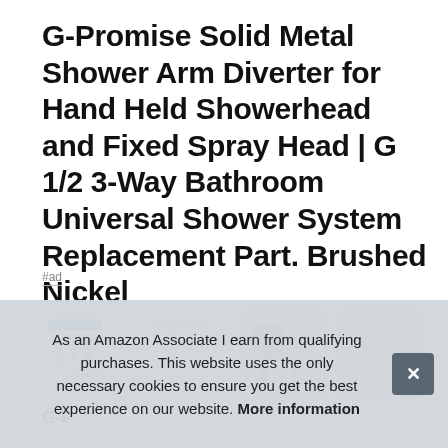G-Promise Solid Metal Shower Arm Diverter for Hand Held Showerhead and Fixed Spray Head | G 1/2 3-Way Bathroom Universal Shower System Replacement Part. Brushed Nickel
#ad
[Figure (photo): Row of four product thumbnail images showing the shower arm diverter from different angles and in use]
G-P
As an Amazon Associate I earn from qualifying purchases. This website uses the only necessary cookies to ensure you get the best experience on our website. More information